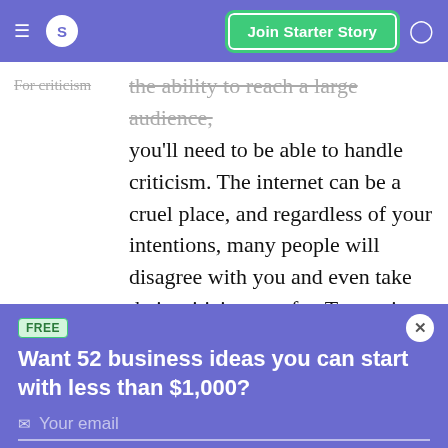S | Join Starter Story
For criticism — the ability to reach a large audience, you'll need to be able to handle criticism. The internet can be a cruel place, and regardless of your intentions, many people will disagree with you and even take their criticism too far. To survive in this industry,
FREE
Want 52 business ideas you can start with less than $1,000?
Your email
Send Now